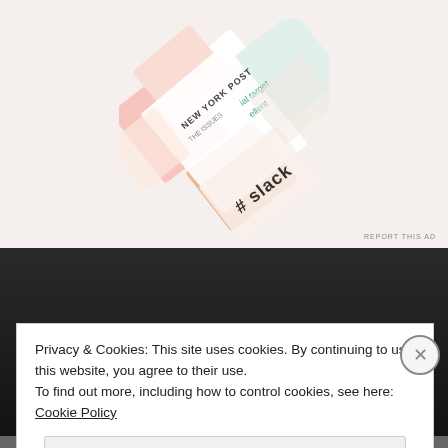[Figure (illustration): Advertisement collage showing overlapping cards/tiles including New York Post, Slack logo, and other media brands on a light beige background. 'REPORT THIS AD' text in bottom right.]
[Figure (screenshot): Dark wooded background section with a search bar showing 'Search ...' placeholder text in italic.]
Privacy & Cookies: This site uses cookies. By continuing to use this website, you agree to their use.
To find out more, including how to control cookies, see here: Cookie Policy
Close and accept